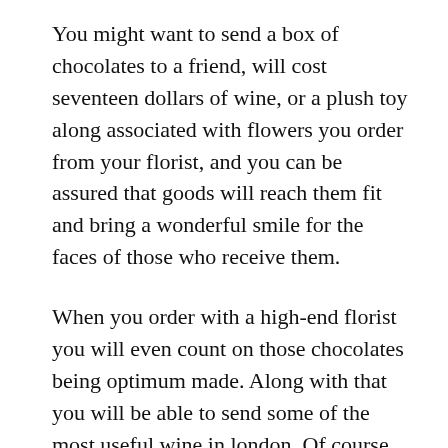You might want to send a box of chocolates to a friend, will cost seventeen dollars of wine, or a plush toy along associated with flowers you order from your florist, and you can be assured that goods will reach them fit and bring a wonderful smile for the faces of those who receive them.
When you order with a high-end florist you will even count on those chocolates being optimum made. Along with that you will be able to send some of the most useful wine in london. Of course, you needn't send chocolates or wine, you could order up a gift of cheese and crackers from your chosen florist. You may also add in certain nuts and dips with gourmet chips to